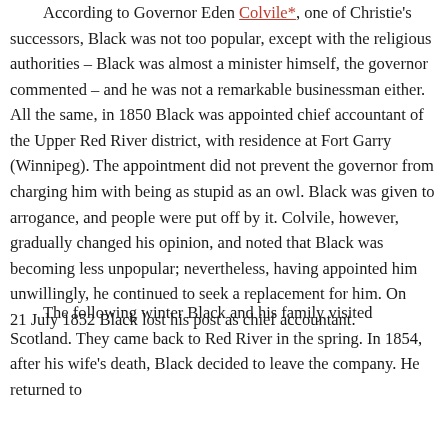According to Governor Eden Colvile*, one of Christie's successors, Black was not too popular, except with the religious authorities – Black was almost a minister himself, the governor commented – and he was not a remarkable businessman either. All the same, in 1850 Black was appointed chief accountant of the Upper Red River district, with residence at Fort Garry (Winnipeg). The appointment did not prevent the governor from charging him with being as stupid as an owl. Black was given to arrogance, and people were put off by it. Colvile, however, gradually changed his opinion, and noted that Black was becoming less unpopular; nevertheless, having appointed him unwillingly, he continued to seek a replacement for him. On 21 July 1852 Black lost his post as chief accountant.
The following winter Black and his family visited Scotland. They came back to Red River in the spring. In 1854, after his wife's death, Black decided to leave the company. He returned to